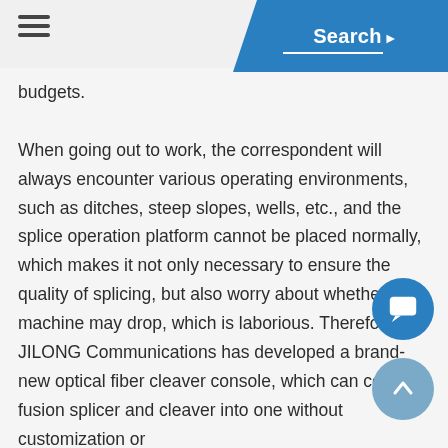Search
budgets.

When going out to work, the correspondent will always encounter various operating environments, such as ditches, steep slopes, wells, etc., and the splice operation platform cannot be placed normally, which makes it not only necessary to ensure the quality of splicing, but also worry about whether the machine may drop, which is laborious. Therefore, JILONG Communications has developed a brand-new optical fiber cleaver console, which can combine fusion splicer and cleaver into one without customization or